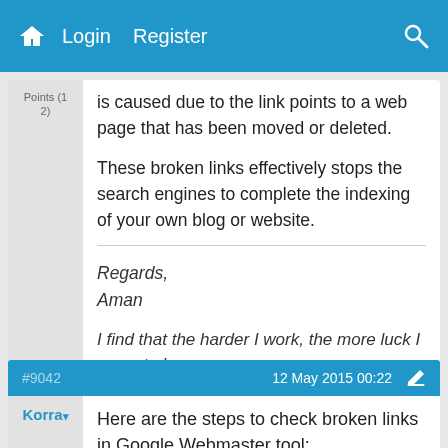Login  Register
is caused due to the link points to a web page that has been moved or deleted.

These broken links effectively stops the search engines to complete the indexing of your own blog or website.
Regards,
Aman
I find that the harder I work, the more luck I seem to have.
#9042  12 May 2015 00:22
Korra
Here are the steps to check broken links in Google Webmaster tool: